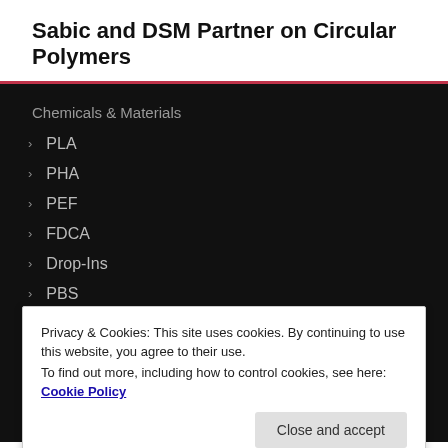Sabic and DSM Partner on Circular Polymers
Chemicals & Materials
PLA
PHA
PEF
FDCA
Drop-Ins
PBS
PBT
Privacy & Cookies: This site uses cookies. By continuing to use this website, you agree to their use.
To find out more, including how to control cookies, see here: Cookie Policy
Bioplastic News
PLA News